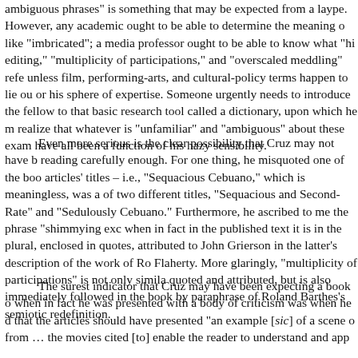ambiguous phrases" is something that may be expected from a laype. However, any academic ought to be able to determine the meaning o like "imbricated"; a media professor ought to be able to know what "hi editing," "multiplicity of participations," and "overscaled meddling" refe unless film, performing-arts, and cultural-policy terms happen to lie ou or his sphere of expertise. Someone urgently needs to introduce the fellow to that basic research tool called a dictionary, upon which he m realize that whatever is "unfamiliar" and "ambiguous" about these exam have all been a function of his hazy sensibility.
Even more serious is the clear possibility that Cruz may not have b reading carefully enough. For one thing, he misquoted one of the boo articles' titles – i.e., "Sequacious Cebuano," which is meaningless, was a of two different titles, "Sequacious and Second-Rate" and "Sedulously Cebuano." Furthermore, he ascribed to me the phrase "shimmying exc when in fact in the published text it is in the plural, enclosed in quotes, attributed to John Grierson in the latter's description of the work of Ro Flaherty. More glaringly, "multiplicity of participations" is not only simila quoted and attributed, but is also immediately followed in the book by paraphrase of Roland Barthes's semiotic redefinition.
The surest indicator that Cruz may have been expecting a book o when in fact he was presented with a body of criticism was when he d that the articles should have presented "an example [sic] of a scene o from ... the movies cited [to] enable the reader to understand and app